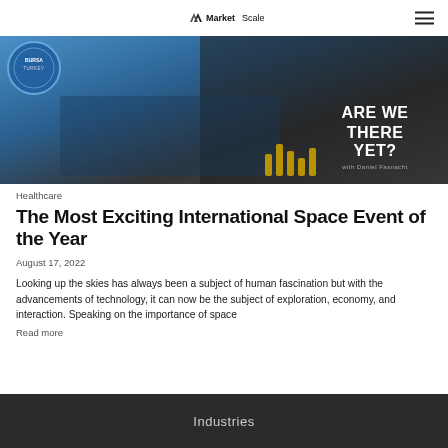MarketScale
[Figure (photo): Hero image showing people at a panel discussion with text overlay reading 'ARE WE THERE YET?' with chess pieces visible in foreground and a Turkey event badge on the left.]
Healthcare
The Most Exciting International Space Event of the Year
August 17, 2022
Looking up the skies has always been a subject of human fascination but with the advancements of technology, it can now be the subject of exploration, economy, and interaction. Speaking on the importance of space
Read more
Industries